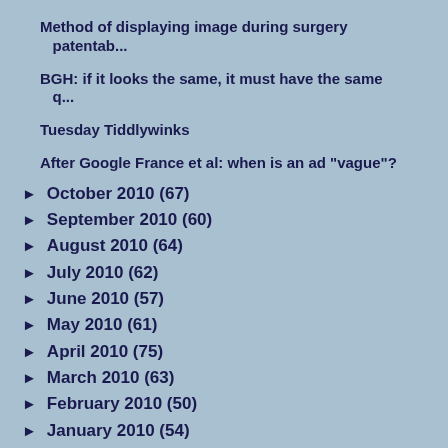Method of displaying image during surgery patentab...
BGH: if it looks the same, it must have the same q...
Tuesday Tiddlywinks
After Google France et al: when is an ad "vague"?
October 2010 (67)
September 2010 (60)
August 2010 (64)
July 2010 (62)
June 2010 (57)
May 2010 (61)
April 2010 (75)
March 2010 (63)
February 2010 (50)
January 2010 (54)